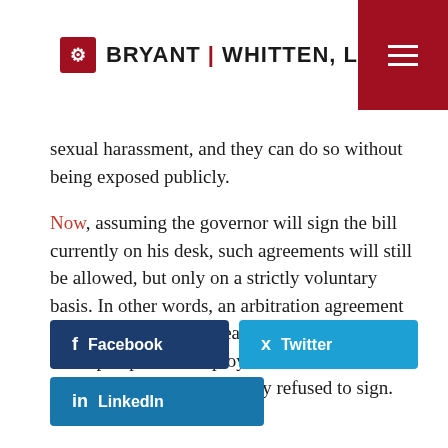BRYANT | WHITTEN, LLP
sexual harassment, and they can do so without being exposed publicly.
Now, assuming the governor will sign the bill currently on his desk, such agreements will still be allowed, but only on a strictly voluntary basis. In other words, an arbitration agreement cannot be a take-it-or-leave-it offer, meaning that a prospective employee would have risked losing the opportunity if they refused to sign.
[Figure (other): Facebook, Twitter, and LinkedIn social sharing buttons]